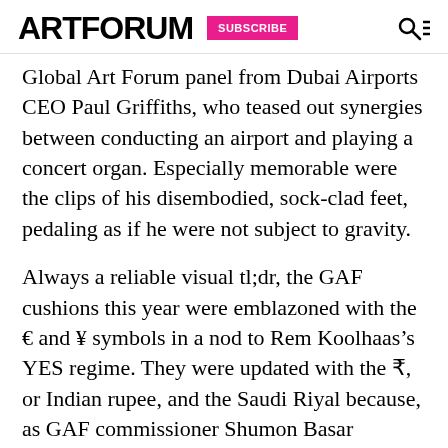ARTFORUM SUBSCRIBE
Global Art Forum panel from Dubai Airports CEO Paul Griffiths, who teased out synergies between conducting an airport and playing a concert organ. Especially memorable were the clips of his disembodied, sock-clad feet, pedaling as if he were not subject to gravity.
Always a reliable visual tl;dr, the GAF cushions this year were emblazoned with the € and ¥ symbols in a nod to Rem Koolhaas's YES regime. They were updated with the ₹, or Indian rupee, and the Saudi Riyal because, as GAF commissioner Shumon Basar explained, “Times have changed and you need a sequel.”